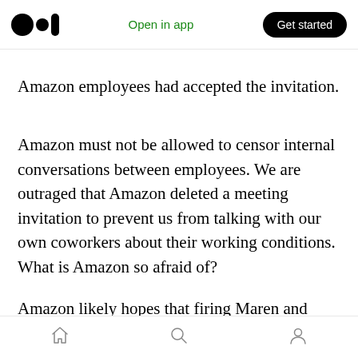Open in app | Get started
Amazon employees had accepted the invitation.
Amazon must not be allowed to censor internal conversations between employees. We are outraged that Amazon deleted a meeting invitation to prevent us from talking with our own coworkers about their working conditions. What is Amazon so afraid of?
Amazon likely hopes that firing Maren and Emily will stop the climate movement and employee pressure at Amazon. They are wrong. The urgency of the climate crisis means we cannot
Home | Search | Profile